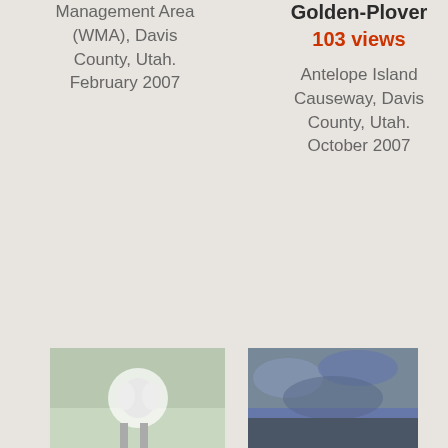Management Area (WMA), Davis County, Utah. February 2007
Golden-Plover
103 views
Antelope Island Causeway, Davis County, Utah. October 2007
[Figure (photo): Bird photo, white and green tones]
[Figure (photo): Bird photo, dark blue-grey sky tones]